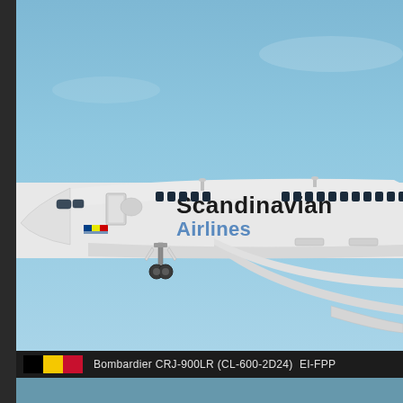[Figure (photo): A Scandinavian Airlines Bombardier CRJ-900LR (CL-600-2D24) aircraft with registration EI-FPP in flight against a blue sky. The white aircraft shows the 'Scandinavian Airlines' livery on the fuselage, with landing gear partially deployed. The photo is taken from the side showing the front and mid section of the aircraft.]
Bombardier CRJ-900LR (CL-600-2D24)  EI-FPP